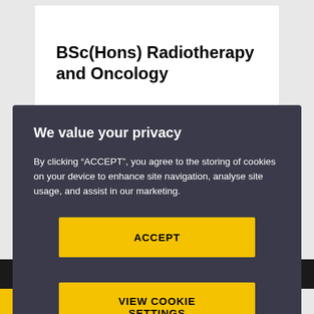BSc(Hons) Radiotherapy and Oncology
We value your privacy
By clicking “ACCEPT”, you agree to the storing of cookies on your device to enhance site navigation, analyse site usage, and assist in our marketing.
ACCEPT
VIEW COOKIE SETTINGS